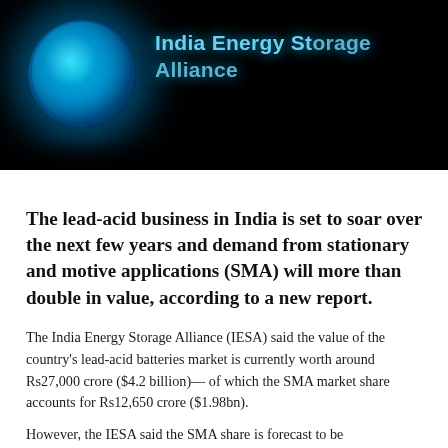[Figure (photo): Dark banner image showing the India Energy Storage Alliance logo — a glowing blue circular emblem on the left and stylized text 'India Energy Storage Alliance' in blue on a black background.]
The lead-acid business in India is set to soar over the next few years and demand from stationary and motive applications (SMA) will more than double in value, according to a new report.
The India Energy Storage Alliance (IESA) said the value of the country's lead-acid batteries market is currently worth around Rs27,000 crore ($4.2 billion)— of which the SMA market share accounts for Rs12,650 crore ($1.98bn).
However, the IESA said the SMA share is forecast to be